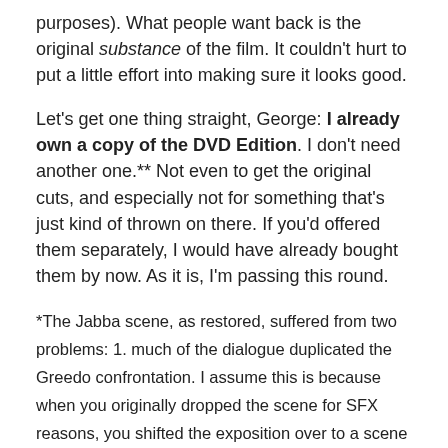purposes). What people want back is the original substance of the film. It couldn't hurt to put a little effort into making sure it looks good.
Let's get one thing straight, George: I already own a copy of the DVD Edition. I don't need another one.** Not even to get the original cuts, and especially not for something that's just kind of thrown on there. If you'd offered them separately, I would have already bought them by now. As it is, I'm passing this round.
*The Jabba scene, as restored, suffered from two problems: 1. much of the dialogue duplicated the Greedo confrontation. I assume this is because when you originally dropped the scene for SFX reasons, you shifted the exposition over to a scene you could use. For the special edition, you could have rewritten either Jabba or Greedo to make the scenes less redundant. Only Han's